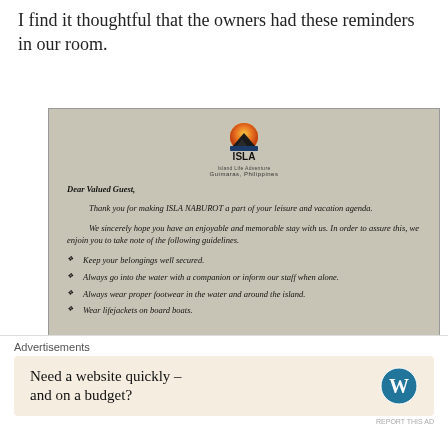I find it thoughtful that the owners had these reminders in our room.
[Figure (photo): A photograph of a printed guest letter from ISLA NABUROT resort in Guimaras, Philippines. The letter includes a logo at the top, a greeting to 'Dear Valued Guest', body text thanking guests and requesting they note safety guidelines, followed by bullet points: Keep your belongings well secured. Always go into the water with a companion or inform our staff when alone. Always wear proper footwear in the water and around the island. Wear lifejackets on board boats (partially visible).]
Advertisements
[Figure (other): Advertisement: 'Need a website quickly – and on a budget?' with WordPress logo]